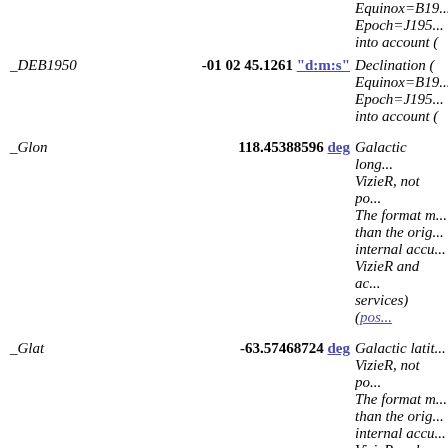Equinox=B19... Epoch=J195... into account (
| Name | Value | Description |
| --- | --- | --- |
| _DEB1950 | -01 02 45.1261 "d:m:s" | Declination ( Equinox=B19... Epoch=J195... into account ( |
| _Glon | 118.45388596 deg | Galactic long... VizieR, not po... The format m... than the orig... internal accu... VizieR and ac... services) (pos... |
| _Glat | -63.57468724 deg | Galactic latit... VizieR, not po... The format m... than the orig... internal accu... VizieR and ac... services) (pos... |
| objID | 1237663478201450634 | (i) SDSS uniq... (links to onli... |